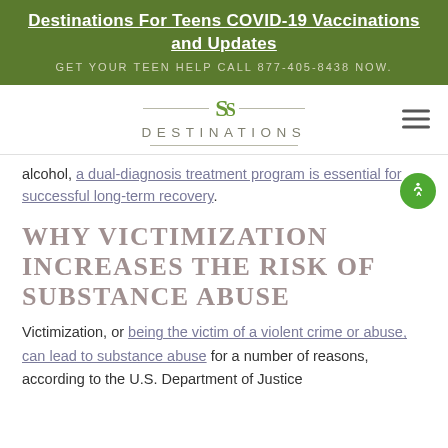Destinations For Teens COVID-19 Vaccinations and Updates. GET YOUR TEEN HELP CALL 877-405-8438 NOW.
[Figure (logo): Destinations logo with stylized 'D' icon and horizontal lines, text reads DESTINATIONS]
alcohol, a dual-diagnosis treatment program is essential for successful long-term recovery.
WHY VICTIMIZATION INCREASES THE RISK OF SUBSTANCE ABUSE
Victimization, or being the victim of a violent crime or abuse, can lead to substance abuse for a number of reasons, according to the U.S. Department of Justice